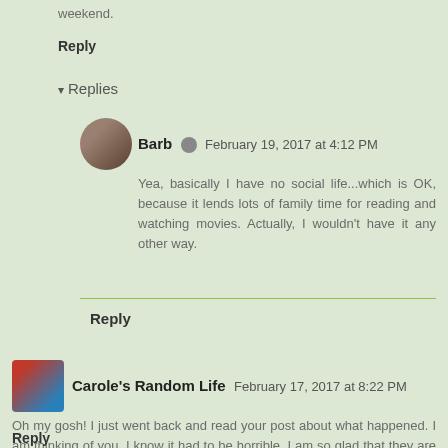weekend.
Reply
▾ Replies
Barb  February 19, 2017 at 4:12 PM
Yea, basically I have no social life...which is OK, because it lends lots of family time for reading and watching movies. Actually, I wouldn't have it any other way.
Reply
Carole's Random Life  February 17, 2017 at 8:22 PM
Oh my gosh! I just went back and read your post about what happened. I am thinking of you. I know it had to be horrible. I am so glad that they are getting better.
Reply